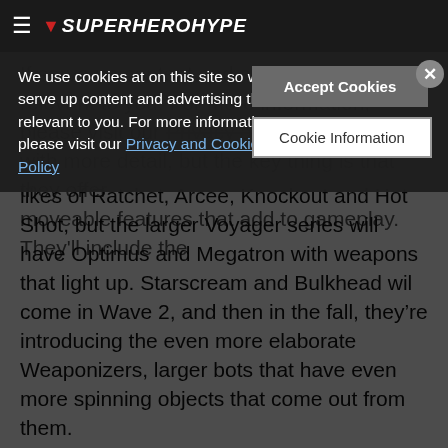SuperHeroHype
We use cookies at on this site so we can serve up content and advertising that's relevant to you. For more information, please visit our Privacy and Cookie Policy
Accept Cookies
Cookie Information
likes of Ratchet, Arcee, Knockout and Hot Shot, but the larger Voyager series will have Optimus and Megatron with weapons that light up. Starscream and Bulkhead wil come in Wave 2, and then in the fall, they’re introducing the even more elaborate Weaponizers, larger bots that have even more spinning objects that come out from them.
Another big thing this year is the introduction of the Transformers Universe MMO (Massively Multiplayer Online) game being done with Jagex, which will debut in September. They showed a trailer which featured the rather distinctive vesions of the Autobots and Decepticons, which one assumes will lead to even further toys from Hasbro.